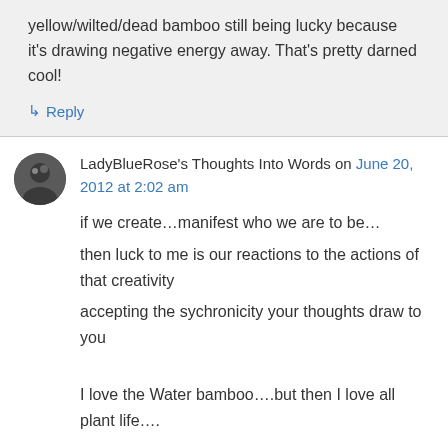yellow/wilted/dead bamboo still being lucky because it's drawing negative energy away. That's pretty darned cool!
↳ Reply
LadyBlueRose's Thoughts Into Words on June 20, 2012 at 2:02 am
if we create…manifest who we are to be…
then luck to me is our reactions to the actions of that creativity
accepting the sychronicity your thoughts draw to you

I love the Water bamboo….but then I love all plant life….